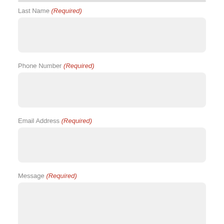Last Name (Required)
Phone Number (Required)
Email Address (Required)
Message (Required)